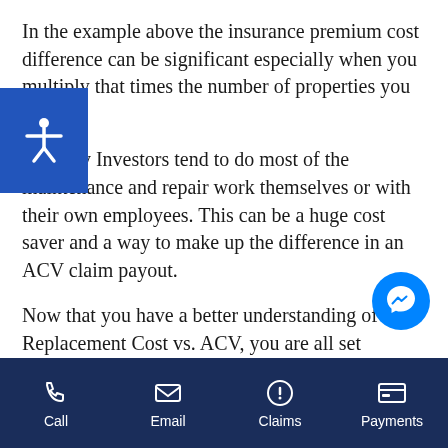In the example above the insurance premium cost difference can be significant especially when you multiply that times the number of properties you have.
Property Investors tend to do most of the maintenance and repair work themselves or with their own employees. This can be a huge cost saver and a way to make up the difference in an ACV claim payout.
Now that you have a better understanding of Replacement Cost vs. ACV, you are all set to decide on how you want to insure your property,
Call | Email | Claims | Payments